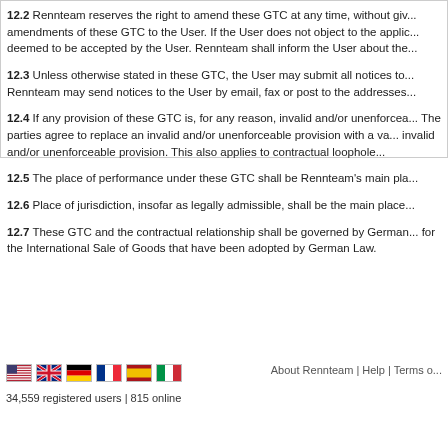12.2 Rennteam reserves the right to amend these GTC at any time, without giving reasons, by notifying the User in text form of the amendments of these GTC to the User. If the User does not object to the applicability of the new GTC, the amended GTC shall be deemed to be accepted by the User. Rennteam shall inform the User about the...
12.3 Unless otherwise stated in these GTC, the User may submit all notices to Rennteam in text form (e.g. by email or fax). Rennteam may send notices to the User by email, fax or post to the addresses...
12.4 If any provision of these GTC is, for any reason, invalid and/or unenforceable, the remainder of these GTC shall continue to apply. The parties agree to replace an invalid and/or unenforceable provision with a valid and/or enforceable provision that comes closest to the purpose of the invalid and/or unenforceable provision. This also applies to contractual loophole...
12.5 The place of performance under these GTC shall be Rennteam's main pla...
12.6 Place of jurisdiction, insofar as legally admissible, shall be the main place...
12.7 These GTC and the contractual relationship shall be governed by German... for the International Sale of Goods that have been adopted by German Law.
About Rennteam | Help | Terms o...
34,559 registered users | 815 online